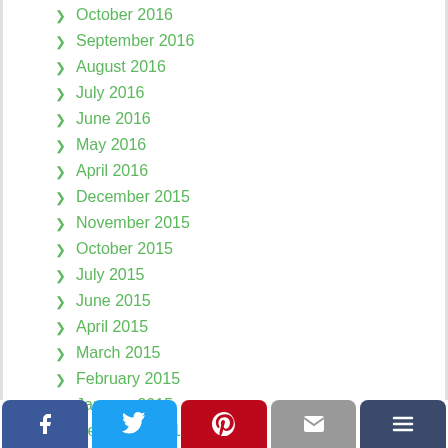October 2016
September 2016
August 2016
July 2016
June 2016
May 2016
April 2016
December 2015
November 2015
October 2015
July 2015
June 2015
April 2015
March 2015
February 2015
January 2015
December 2014
November 2014